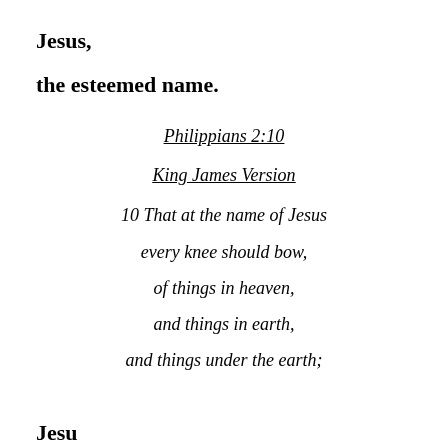Jesus,
the esteemed name.
Philippians 2:10
King James Version
10 That at the name of Jesus
every knee should bow,
of things in heaven,
and things in earth,
and things under the earth;
Jesu